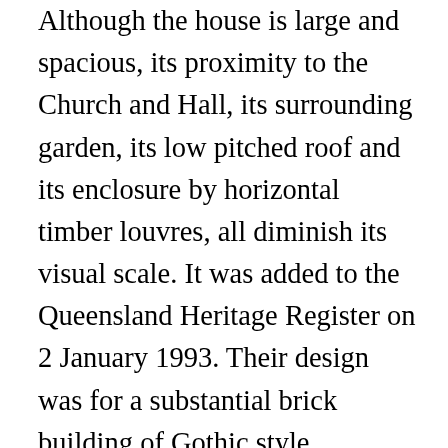Although the house is large and spacious, its proximity to the Church and Hall, its surrounding garden, its low pitched roof and its enclosure by horizontal timber louvres, all diminish its visual scale. It was added to the Queensland Heritage Register on 2 January 1993. Their design was for a substantial brick building of Gothic style, comprising a large basement space, a superstructure consisting of naive, aisles, transept, sacristy, chapters and sanctuary, and an imposing front tower and spire rising 162 feet (49 m). The central, north entrance porch has twin timber stair and a gable roof. The marble altar, wooden side altars, baptismal font, altar rails, pulpit, pine pews in the aisles, and wood and plaster